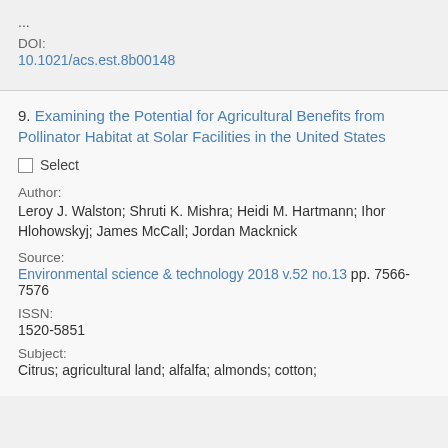...
DOI:
10.1021/acs.est.8b00148
9. Examining the Potential for Agricultural Benefits from Pollinator Habitat at Solar Facilities in the United States
☐ Select
Author:
Leroy J. Walston; Shruti K. Mishra; Heidi M. Hartmann; Ihor Hlohowskyj; James McCall; Jordan Macknick
Source:
Environmental science & technology 2018 v.52 no.13 pp. 7566-7576
ISSN:
1520-5851
Subject:
Citrus; agricultural land; alfalfa; almonds; cotton;